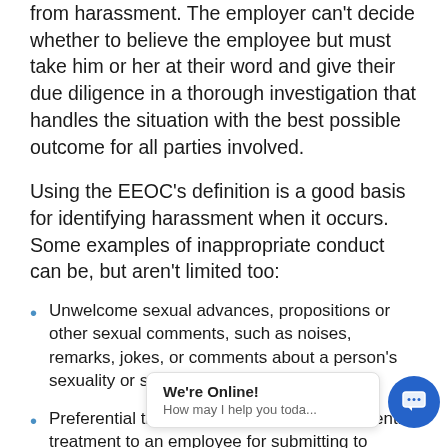from harassment. The employer can't decide whether to believe the employee but must take him or her at their word and give their due diligence in a thorough investigation that handles the situation with the best possible outcome for all parties involved.
Using the EEOC's definition is a good basis for identifying harassment when it occurs. Some examples of inappropriate conduct can be, but aren't limited too:
Unwelcome sexual advances, propositions or other sexual comments, such as noises, remarks, jokes, or comments about a person's sexuality or sexual experiences.
Preferential treatment or promises of preferential treatment to an employee for submitting to sexual conduct, including soliciting or attempting to solicit any employee to engage in sexual activity for compensation or reward.
Physical assaults of a sexual nature, such as rape, sexual